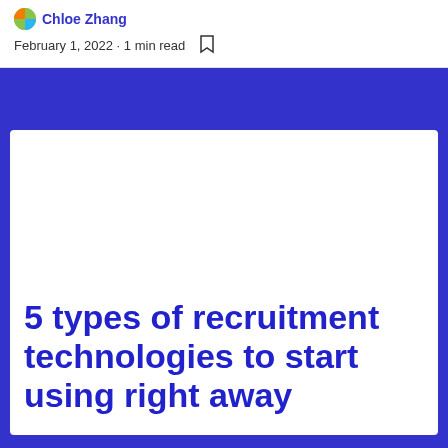Chloe Zhang
February 1, 2022 · 1 min read
5 types of recruitment technologies to start using right away